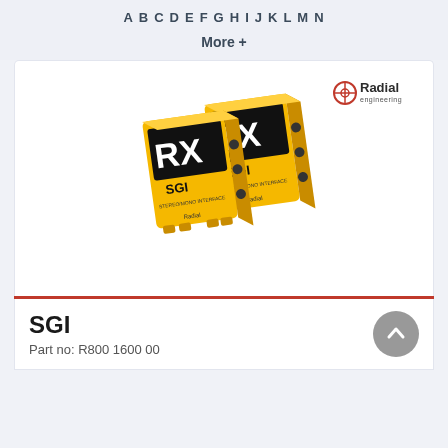A B C D E F G H I J K L M N
More +
[Figure (photo): Two yellow Radial Engineering SGI direct boxes labeled SGI RX and SGI TX, stacked at an angle on a white background with a red Radial Engineering logo in the top right corner.]
SGI
Part no: R800 1600 00